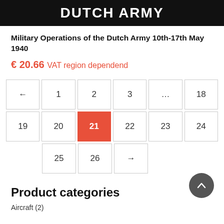DUTCH ARMY
Military Operations of the Dutch Army 10th-17th May 1940
€ 20.66 VAT region dependend
[Figure (other): Pagination navigation showing page numbers: ← 1 2 3 ... 18 / 19 20 [21 active/highlighted] 22 23 24 / 25 26 →]
Product categories
Aircraft (2)